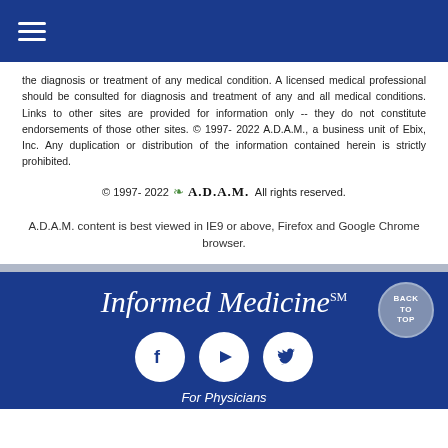[Figure (other): Hamburger menu icon (three horizontal white lines) on dark blue navigation bar]
the diagnosis or treatment of any medical condition. A licensed medical professional should be consulted for diagnosis and treatment of any and all medical conditions. Links to other sites are provided for information only -- they do not constitute endorsements of those other sites. © 1997- 2022 A.D.A.M., a business unit of Ebix, Inc. Any duplication or distribution of the information contained herein is strictly prohibited.
© 1997- 2022 A.D.A.M. All rights reserved.
A.D.A.M. content is best viewed in IE9 or above, Firefox and Google Chrome browser.
Informed Medicine℠
[Figure (logo): Social media icons: Facebook, YouTube, Twitter — white circles on dark blue background]
For Physicians